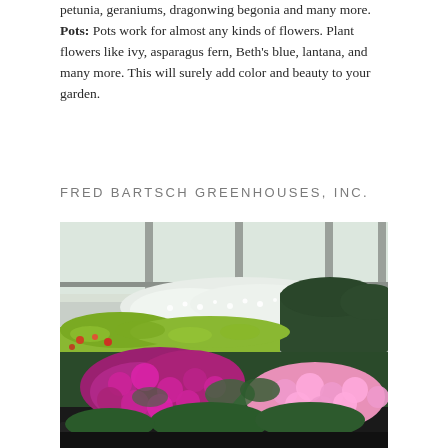petunia, geraniums, dragonwing begonia and many more.
Pots:  Pots work for almost any kinds of flowers.  Plant flowers like ivy, asparagus fern, Beth's blue, lantana, and many more.  This will surely add color and beauty to your garden.
FRED BARTSCH GREENHOUSES, INC.
[Figure (photo): Interior of a greenhouse showing rows of flowering plants including pink and magenta petunias in the foreground, yellow-green foliage in the middle, and white flowers and dark green plants in the background. The greenhouse structure with metal beams and translucent panels is visible above.]